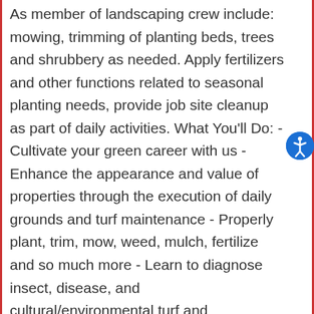As member of landscaping crew include: mowing, trimming of planting beds, trees and shrubbery as needed. Apply fertilizers and other functions related to seasonal planting needs, provide job site cleanup as part of daily activities. What You'll Do: - Cultivate your green career with us - Enhance the appearance and value of properties through the execution of daily grounds and turf maintenance - Properly plant, trim, mow, weed, mulch, fertilize and so much more - Learn to diagnose insect, disease, and cultural/environmental turf and